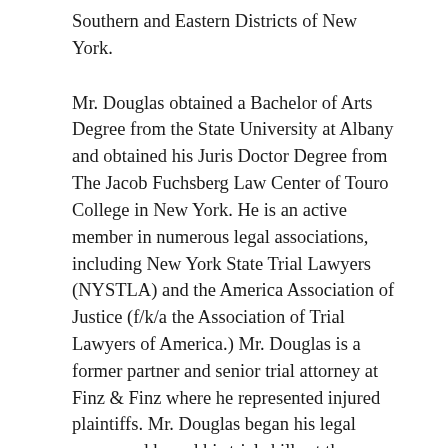Southern and Eastern Districts of New York.
Mr. Douglas obtained a Bachelor of Arts Degree from the State University at Albany and obtained his Juris Doctor Degree from The Jacob Fuchsberg Law Center of Touro College in New York. He is an active member in numerous legal associations, including New York State Trial Lawyers (NYSTLA) and the America Association of Justice (f/k/a the Association of Trial Lawyers of America.) Mr. Douglas is a former partner and senior trial attorney at Finz & Finz where he represented injured plaintiffs. Mr. Douglas began his legal career and honed his trial skills at the nationally acclaimed Wall Street defense firm of Leahey & Johnson.
Mr. Douglas continues to focus on fighting for the rights of those persons injured by defective